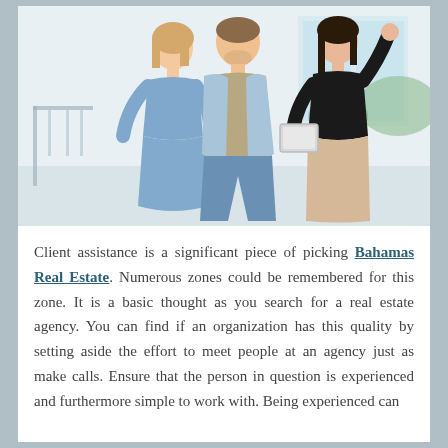[Figure (photo): A real estate agent (woman in black top and beige skirt, holding a tablet) gesturing/pointing while showing a property to a couple (woman in blue denim dress and man in light blue shirt and khaki pants) inside a bright interior space.]
Client assistance is a significant piece of picking Bahamas Real Estate. Numerous zones could be remembered for this zone. It is a basic thought as you search for a real estate agency. You can find if an organization has this quality by setting aside the effort to meet people at an agency just as make calls. Ensure that the person in question is experienced and furthermore simple to work with. Being experienced can